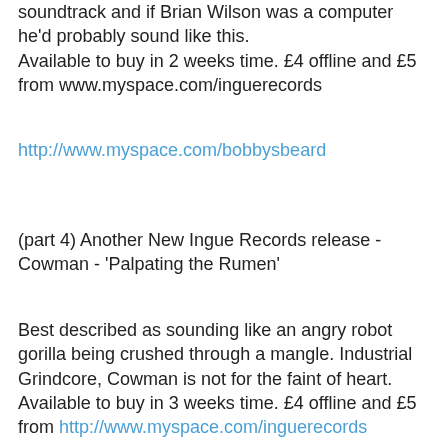soundtrack and if Brian Wilson was a computer he'd probably sound like this. Available to buy in 2 weeks time. £4 offline and £5 from www.myspace.com/inguerecords
http://www.myspace.com/bobbysbeard
(part 4) Another New Ingue Records release - Cowman - 'Palpating the Rumen'
Best described as sounding like an angry robot gorilla being crushed through a mangle. Industrial Grindcore, Cowman is not for the faint of heart. Available to buy in 3 weeks time. £4 offline and £5 from http://www.myspace.com/inguerecords
http://www.myspace.com/cowmanonemanband
(part 5) For future release.......eta summer time